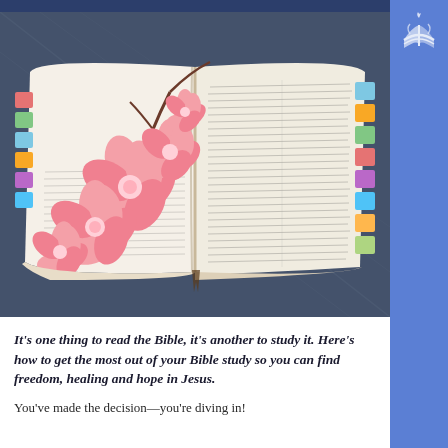[Figure (photo): An open Bible with colorful tabs along the edges and pink cherry blossom flowers laid across the left page, resting on denim fabric background.]
It's one thing to read the Bible, it's another to study it. Here's how to get the most out of your Bible study so you can find freedom, healing and hope in Jesus.
You've made the decision—you're diving in!